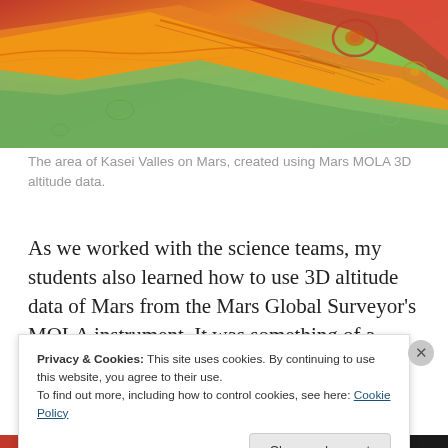[Figure (photo): Aerial/topographic view of the Kasei Valles area on Mars, rendered using Mars MOLA 3D altitude data. The image shows a false-color elevation map with orange/yellow elevated ridges and green/teal lower terrain, depicting canyon-like valley features and craters.]
The area of Kasei Valles on Mars, created using Mars MOLA 3D altitude data.
As we worked with the science teams, my students also learned how to use 3D altitude data of Mars from the Mars Global Surveyor's MOLA instrument. It was something of a
Privacy & Cookies: This site uses cookies. By continuing to use this website, you agree to their use.
To find out more, including how to control cookies, see here: Cookie Policy
Close and accept